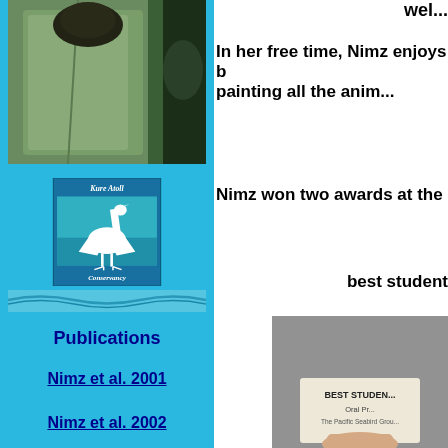[Figure (photo): Photo of person wearing a green/olive coat with a dark fur-trimmed collar, outdoors with greenery in background. Top-left of page.]
[Figure (logo): Kure Atoll Conservancy logo: teal/blue square with white heron/seabird silhouette, text 'Kure Atoll' at top and 'Conservancy' at bottom in italic white text.]
[Figure (photo): Wave/ocean strip decorative image in blue tones.]
Publications
Nimz et al. 2001
Nimz et al. 2002
In her free time, Nimz enjoys b... painting all the anim...
Nimz won two awards at the
best student
[Figure (photo): Photo showing a hand holding a certificate/award card that reads 'BEST STUDEN...' 'Oral Pr...' 'The Pacific Seabird Grou...']